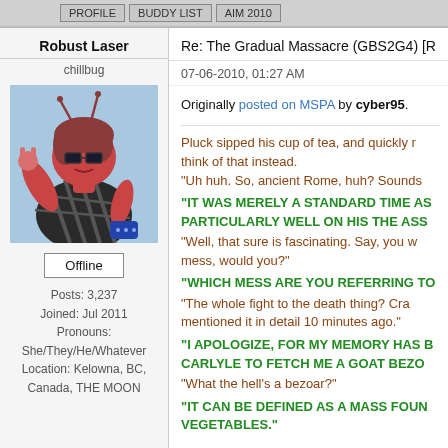[buttons at top]
Robust Laser
chillbug
[Figure (illustration): Anime-style illustration of a red insect/bug character with pink hair, glasses, wearing a plaid shirt, making a rock-on hand gesture, sitting with a blue object in hand. Background is light blue.]
Offline
Posts: 3,237
Joined: Jul 2011
Pronouns:
She/They/He/Whatever
Location: Kelowna, BC, Canada, THE MOON
Re: The Gradual Massacre (GBS2G4) [R
07-06-2010, 01:27 AM
Originally posted on MSPA by cyber95.
Pluck sipped his cup of tea, and quickly r think of that instead.
"Uh huh. So, ancient Rome, huh? Sounds
"IT WAS MERELY A STANDARD TIME AS PARTICULARLY WELL ON HIS THE ASS
"Well, that sure is fascinating. Say, you w mess, would you?"
"WHICH MESS ARE YOU REFERRING TO
"The whole fight to the death thing? Cra mentioned it in detail 10 minutes ago."
"I APOLOGIZE, FOR MY MEMORY HAS B CARLYLE TO FETCH ME A GOAT BEZO
"What the hell's a bezoar?"
"IT CAN BE DEFINED AS A MASS FOUN VEGETABLES."